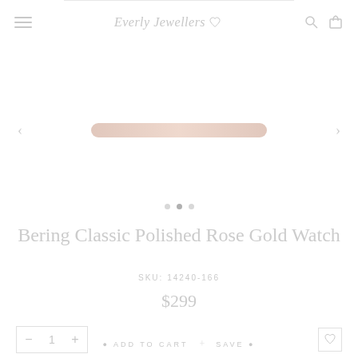Everly Jewellers
[Figure (photo): Product image area showing a rose gold watch - partially visible banner/image strip in rose gold color with carousel navigation arrows and dots]
Bering Classic Polished Rose Gold Watch
SKU: 14240-166
$299
— 1 +
ADD TO CART + SAVE